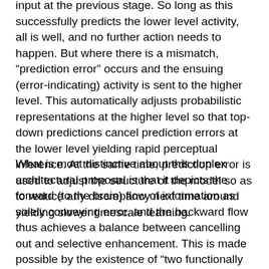input at the previous stage. So long as this successfully predicts the lower level activity, all is well, and no further action needs to happen. But where there is a mismatch, “prediction error” occurs and the ensuing (error-indicating) activity is sent to the higher level. This automatically adjusts probabilistic representations at the higher level so that top-down predictions cancel prediction errors at the lower level yielding rapid perceptual inference. At the same time, prediction error is used to adjust the structure of the model so as to reduce any discrepancy next time around yielding slower timescale learning.
What is most distinctive about this duplex architectural proposal is that it depicts the forward (to the brain) flow of information as solely conveying error, and the backward flow thus achieves a balance between cancelling out and selective enhancement. This is made possible by the existence of “two functionally distinct sub populations,  encoding the conditional expectations of perceptual causes and the